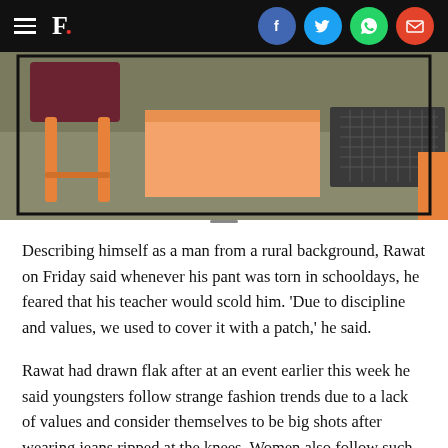F.
[Figure (illustration): Illustration showing chair legs, a desk or box, and a laptop/keyboard on a grey floor background]
Describing himself as a man from a rural background, Rawat on Friday said whenever his pant was torn in schooldays, he feared that his teacher would scold him. 'Due to discipline and values, we used to cover it with a patch,' he said.
Rawat had drawn flak after at an event earlier this week he said youngsters follow strange fashion trends due to a lack of values and consider themselves to be big shots after wearing jeans ripped at the knees. Women also follow such trends.